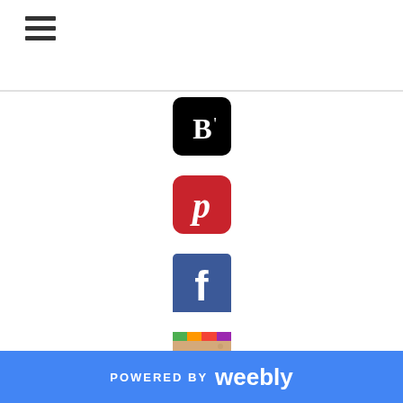[Figure (other): Hamburger menu icon (three horizontal lines)]
[Figure (logo): BlogLovin social media icon - black square with B' text]
[Figure (logo): Pinterest social media icon - red rounded square with P]
[Figure (logo): Facebook social media icon - blue square with f]
[Figure (logo): Instagram social media icon - camera with colorful top strip]
[Figure (logo): Twitter social media icon - blue rounded square with bird]
POWERED BY weebly